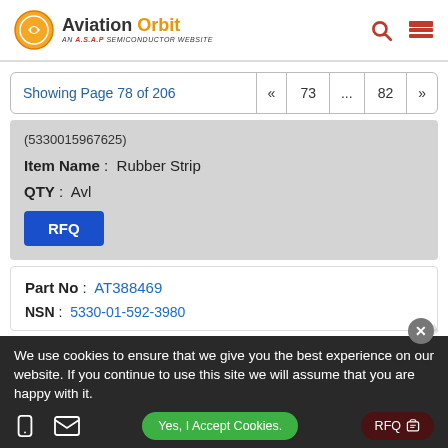Aviation Orbit — AN A.S.A.P SEMICONDUCTOR WEBSITE
Showing Page 78 of 206  «  73  ...  82  »
(5330015967625)
Item Name: Rubber Strip
QTY: Avl
RFQ
Part No: AT388469
NSN: 5330-01-592-3980
We use cookies to ensure that we give you the best experience on our website. If you continue to use this site we will assume that you are happy with it.
Yes, I Accept Cookies.
RFQ